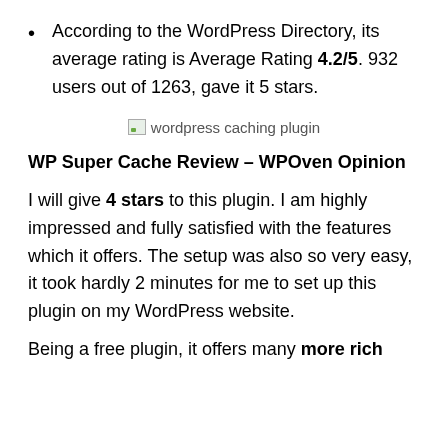According to the WordPress Directory, its average rating is Average Rating 4.2/5. 932 users out of 1263, gave it 5 stars.
[Figure (photo): Broken image placeholder with alt text 'wordpress caching plugin']
WP Super Cache Review – WPOven Opinion
I will give 4 stars to this plugin. I am highly impressed and fully satisfied with the features which it offers. The setup was also so very easy, it took hardly 2 minutes for me to set up this plugin on my WordPress website.
Being a free plugin, it offers many more rich